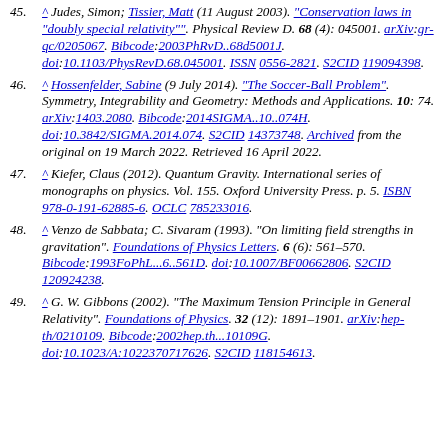45. ^ Judes, Simon; Tissier, Matt (11 August 2003). "Conservation laws in 'doubly special relativity'". Physical Review D. 68 (4): 045001. arXiv:gr-qc/0205067. Bibcode:2003PhRvD..68d5001J. doi:10.1103/PhysRevD.68.045001. ISSN 0556-2821. S2CID 119094398.
46. ^ Hossenfelder, Sabine (9 July 2014). "The Soccer-Ball Problem". Symmetry, Integrability and Geometry: Methods and Applications. 10: 74. arXiv:1403.2080. Bibcode:2014SIGMA..10..074H. doi:10.3842/SIGMA.2014.074. S2CID 14373748. Archived from the original on 19 March 2022. Retrieved 16 April 2022.
47. ^ Kiefer, Claus (2012). Quantum Gravity. International series of monographs on physics. Vol. 155. Oxford University Press. p. 5. ISBN 978-0-191-62885-6. OCLC 785233016.
48. ^ Venzo de Sabbata; C. Sivaram (1993). "On limiting field strengths in gravitation". Foundations of Physics Letters. 6 (6): 561–570. Bibcode:1993FoPhL...6..561D. doi:10.1007/BF00662806. S2CID 120924238.
49. ^ G. W. Gibbons (2002). "The Maximum Tension Principle in General Relativity". Foundations of Physics. 32 (12): 1891–1901. arXiv:hep-th/0210109. Bibcode:2002hep.th...10109G. doi:10.1023/A:1022370717626. S2CID 118154613.